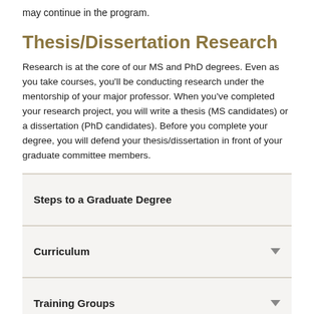may continue in the program.
Thesis/Dissertation Research
Research is at the core of our MS and PhD degrees. Even as you take courses, you'll be conducting research under the mentorship of your major professor. When you've completed your research project, you will write a thesis (MS candidates) or a dissertation (PhD candidates). Before you complete your degree, you will defend your thesis/dissertation in front of your graduate committee members.
Steps to a Graduate Degree
Curriculum
Training Groups